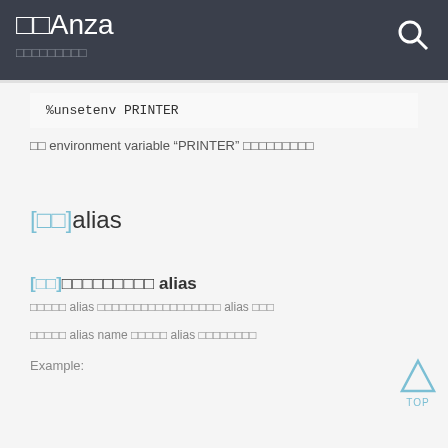□□Anza
□□□□□□□□□
%unsetenv PRINTER
□□ environment variable "PRINTER" □□□□□□□□□
[□□]alias
[□□]□□□□□□□□□ alias
□□□□□ alias □□□□□□□□□□□□□□□□□ alias □□□
□□□□□ alias name □□□□□ alias □□□□□□□□
Example: